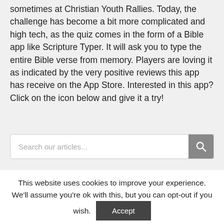sometimes at Christian Youth Rallies. Today, the challenge has become a bit more complicated and high tech, as the quiz comes in the form of a Bible app like Scripture Typer. It will ask you to type the entire Bible verse from memory. Players are loving it as indicated by the very positive reviews this app has receive on the App Store. Interested in this app? Click on the icon below and give it a try!
Search our articles...
This website uses cookies to improve your experience. We'll assume you're ok with this, but you can opt-out if you wish.
Accept
Reject
Read More